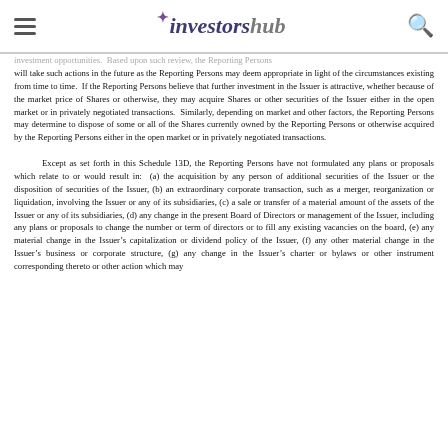investorshub
investment opportunities.  Based upon such review, the Reporting Persons will take such actions in the future as the Reporting Persons may deem appropriate in light of the circumstances existing from time to time.  If the Reporting Persons believe that further investment in the Issuer is attractive, whether because of the market price of Shares or otherwise, they may acquire Shares or other securities of the Issuer either in the open market or in privately negotiated transactions.  Similarly, depending on market and other factors, the Reporting Persons may determine to dispose of some or all of the Shares currently owned by the Reporting Persons or otherwise acquired by the Reporting Persons either in the open market or in privately negotiated transactions.

Except as set forth in this Schedule 13D, the Reporting Persons have not formulated any plans or proposals which relate to or would result in:  (a) the acquisition by any person of additional securities of the Issuer or the disposition of securities of the Issuer, (b) an extraordinary corporate transaction, such as a merger, reorganization or liquidation, involving the Issuer or any of its subsidiaries, (c) a sale or transfer of a material amount of the assets of the Issuer or any of its subsidiaries, (d) any change in the present Board of Directors or management of the Issuer, including any plans or proposals to change the number or term of directors or to fill any existing vacancies on the board, (e) any material change in the Issuer’s capitalization or dividend policy of the Issuer, (f) any other material change in the Issuer’s business or corporate structure, (g) any change in the Issuer’s charter or bylaws or other instrument corresponding thereto or other action which may